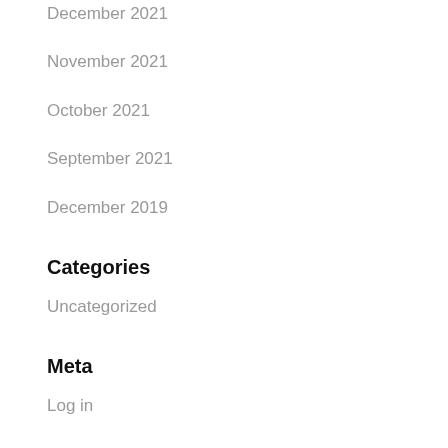December 2021
November 2021
October 2021
September 2021
December 2019
Categories
Uncategorized
Meta
Log in
Entries feed
Comments feed
WordPress.org